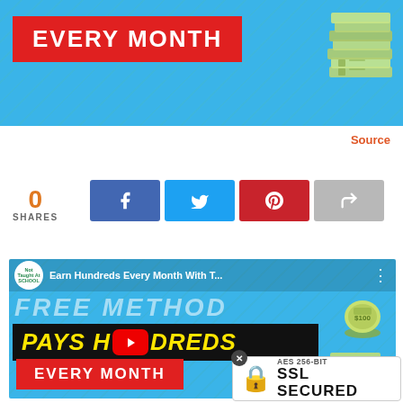[Figure (screenshot): Top banner with blue background, red label 'EVERY MONTH' in white bold text, and a pile of money on the right]
Source
0 SHARES
[Figure (screenshot): Social share buttons: Facebook (blue), Twitter (light blue), Pinterest (red), Forward (gray)]
[Figure (screenshot): YouTube video thumbnail with title 'Earn Hundreds Every Month With T...' showing FREE METHOD text, PAYS HUNDREDS in yellow on black bar with YouTube play button, EVERY MONTH in red bar, money roll and money pile graphics on blue background]